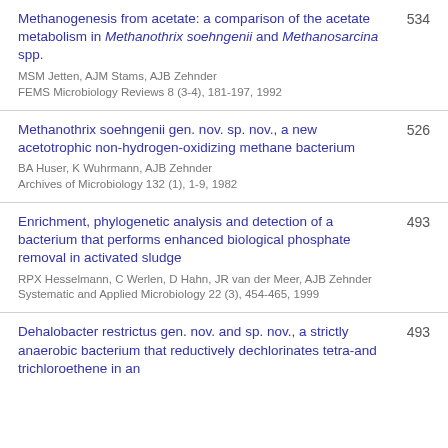Methanogenesis from acetate: a comparison of the acetate metabolism in Methanothrix soehngenii and Methanosarcina spp.
MSM Jetten, AJM Stams, AJB Zehnder
FEMS Microbiology Reviews 8 (3-4), 181-197, 1992
534
Methanothrix soehngenii gen. nov. sp. nov., a new acetotrophic non-hydrogen-oxidizing methane bacterium
BA Huser, K Wuhrmann, AJB Zehnder
Archives of Microbiology 132 (1), 1-9, 1982
526
Enrichment, phylogenetic analysis and detection of a bacterium that performs enhanced biological phosphate removal in activated sludge
RPX Hesselmann, C Werlen, D Hahn, JR van der Meer, AJB Zehnder
Systematic and Applied Microbiology 22 (3), 454-465, 1999
493
Dehalobacter restrictus gen. nov. and sp. nov., a strictly anaerobic bacterium that reductively dechlorinates tetra-and trichloroethene in an
493